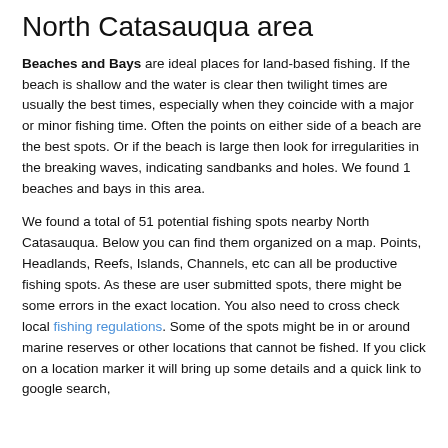North Catasauqua area
Beaches and Bays are ideal places for land-based fishing. If the beach is shallow and the water is clear then twilight times are usually the best times, especially when they coincide with a major or minor fishing time. Often the points on either side of a beach are the best spots. Or if the beach is large then look for irregularities in the breaking waves, indicating sandbanks and holes. We found 1 beaches and bays in this area.
We found a total of 51 potential fishing spots nearby North Catasauqua. Below you can find them organized on a map. Points, Headlands, Reefs, Islands, Channels, etc can all be productive fishing spots. As these are user submitted spots, there might be some errors in the exact location. You also need to cross check local fishing regulations. Some of the spots might be in or around marine reserves or other locations that cannot be fished. If you click on a location marker it will bring up some details and a quick link to google search,